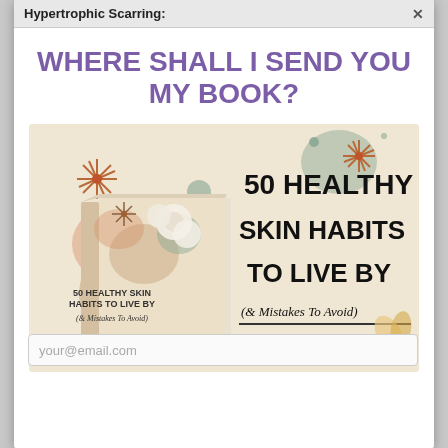Hypertrophic Scarring:
WHERE SHALL I SEND YOU MY BOOK?
[Figure (illustration): Book cover and promotional image for '50 Healthy Skin Habits To Live By (& Mistakes To Avoid)' showing a 3D book on the left with floral decorations on a beige background, and large bold text on the right repeating the book title]
your@email.com